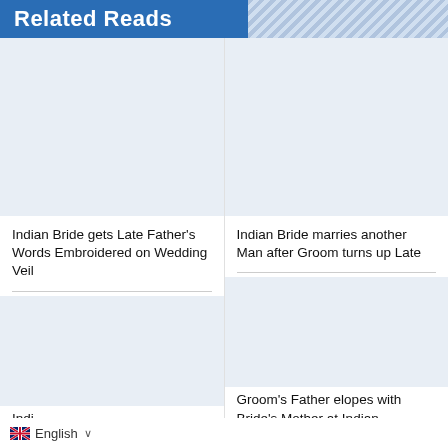Related Reads
[Figure (photo): Empty image placeholder for article about Indian Bride Late Father's Words Embroidered on Wedding Veil]
Indian Bride gets Late Father's Words Embroidered on Wedding Veil
[Figure (photo): Empty image placeholder for article about Indian Bride marries another Man after Groom turns up Late]
Indian Bride marries another Man after Groom turns up Late
[Figure (photo): Empty image placeholder for second row left article]
Indi Stat
[Figure (photo): Empty image placeholder for article about Groom's Father elopes with Bride's Mother at Indian]
Groom's Father elopes with Bride's Mother at Indian
🇬🇧 English ∨